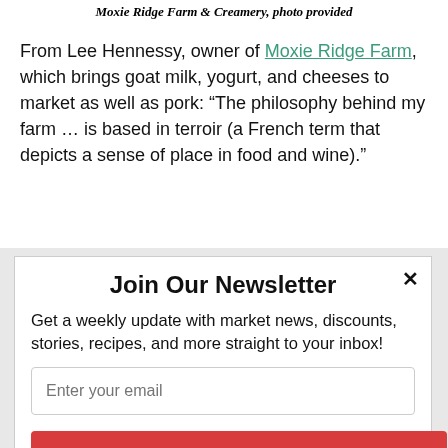Moxie Ridge Farm & Creamery, photo provided
From Lee Hennessy, owner of Moxie Ridge Farm, which brings goat milk, yogurt, and cheeses to market as well as pork: “The philosophy behind my farm … is based in terroir (a French term that depicts a sense of place in food and wine).”
Join Our Newsletter
Get a weekly update with market news, discounts, stories, recipes, and more straight to your inbox!
Enter your email
Subscribe